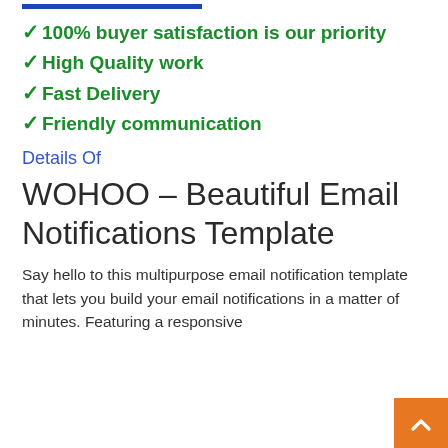✓ 100% buyer satisfaction is our priority
✓ High Quality work
✓ Fast Delivery
✓ Friendly communication
Details Of
WOHOO – Beautiful Email Notifications Template
Say hello to this multipurpose email notification template that lets you build your email notifications in a matter of minutes. Featuring a responsive